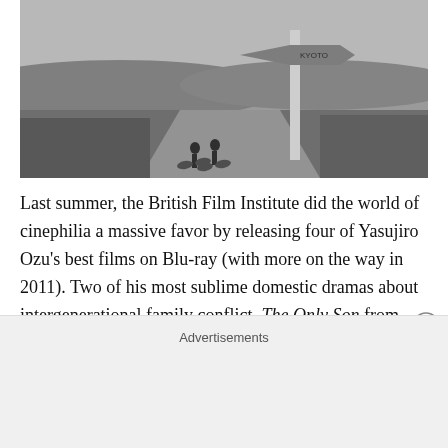[Figure (photo): Black and white film still showing two people cycling on a rural road next to a road sign post, with fields and hills in the background.]
Last summer, the British Film Institute did the world of cinephilia a massive favor by releasing four of Yasujiro Ozu's best films on Blu-ray (with more on the way in 2011). Two of his most sublime domestic dramas about intergenerational family conflict, The Only Son from 1936 and Late Spring from 1949, appeared on a single disc,
Advertisements